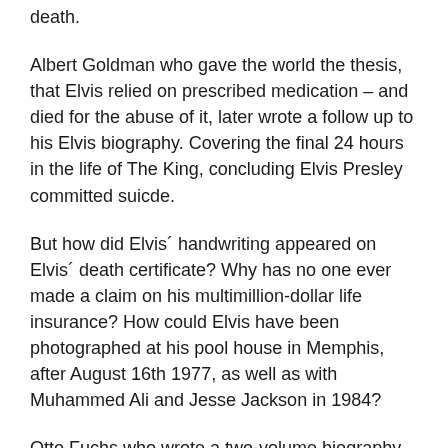death.
Albert Goldman who gave the world the thesis, that Elvis relied on prescribed medication – and died for the abuse of it, later wrote a follow up to his Elvis biography. Covering the final 24 hours in the life of The King, concluding Elvis Presley committed suicde.
But how did Elvis´ handwriting appeared on Elvis´ death certificate? Why has no one ever made a claim on his multimillion-dollar life insurance? How could Elvis have been photographed at his pool house in Memphis, after August 16th 1977, as well as with Muhammed Ali and Jesse Jackson in 1984?
Otto Fuchs who wrote a two-volume biography on Bill Haley – The Father of Rock & Roll, currently works on a book about Elvis Presley.